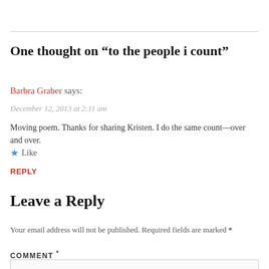One thought on “to the people i count”
Barbra Graber says:
December 12, 2013 at 2:11 am
Moving poem. Thanks for sharing Kristen. I do the same count—over and over.
★ Like
REPLY
Leave a Reply
Your email address will not be published. Required fields are marked *
COMMENT *